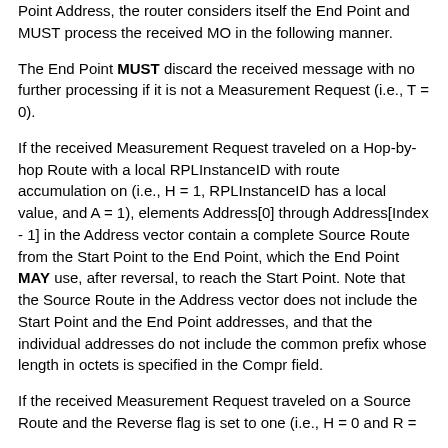Point Address, the router considers itself the End Point and MUST process the received MO in the following manner.
The End Point MUST discard the received message with no further processing if it is not a Measurement Request (i.e., T = 0).
If the received Measurement Request traveled on a Hop-by-hop Route with a local RPLInstanceID with route accumulation on (i.e., H = 1, RPLInstanceID has a local value, and A = 1), elements Address[0] through Address[Index - 1] in the Address vector contain a complete Source Route from the Start Point to the End Point, which the End Point MAY use, after reversal, to reach the Start Point. Note that the Source Route in the Address vector does not include the Start Point and the End Point addresses, and that the individual addresses do not include the common prefix whose length in octets is specified in the Compr field.
If the received Measurement Request traveled on a Source Route and the Reverse flag is set to one (i.e., H = 0 and R =